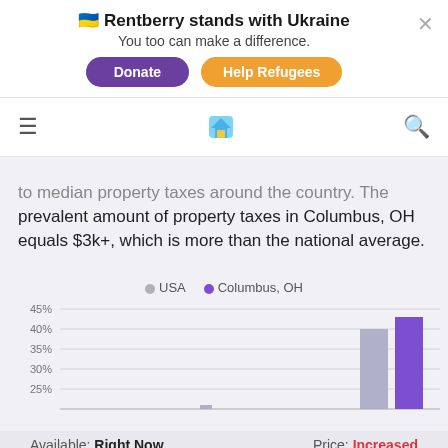🇺🇦 Rentberry stands with Ukraine
You too can make a difference.
[Donate] [Help Refugees]
[Figure (screenshot): Navigation bar with hamburger menu, Rentberry house logo, and search icon]
to median property taxes around the country. The prevalent amount of property taxes in Columbus, OH equals $3k+, which is more than the national average.
[Figure (bar-chart): Property tax comparison]
Available: Right Now    Price: Increased
Protect yourself from rental scams
$850,000    Contact Agent